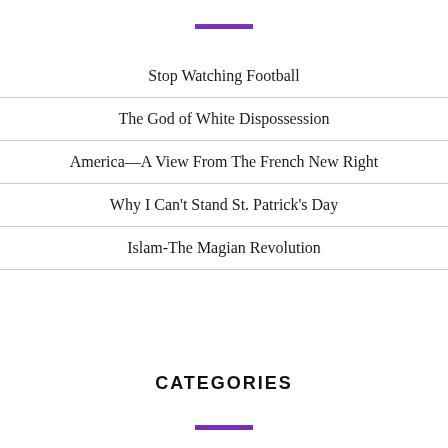Stop Watching Football
The God of White Dispossession
America—A View From The French New Right
Why I Can't Stand St. Patrick's Day
Islam-The Magian Revolution
CATEGORIES